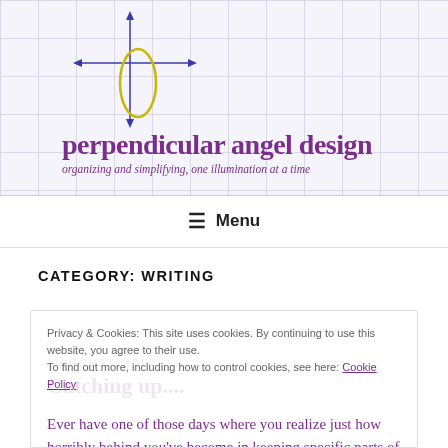[Figure (logo): Perpendicular angel design logo: a vertical and horizontal arrow cross with a yellow ellipse/oval at the intersection, on a grid background]
perpendicular angel design
organizing and simplifying, one illumination at a time
≡  Menu
CATEGORY: WRITING
Privacy & Cookies: This site uses cookies. By continuing to use this website, you agree to their use. To find out more, including how to control cookies, see here: Cookie Policy
2 AUGUST, 2018
Catching up....
Ever have one of those days where you realize just how horribly behind you've become in keeping specific parts of your portfolio up to date?